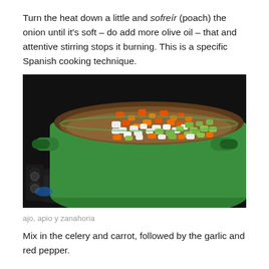Turn the heat down a little and sofreír (poach) the onion until it's soft – do add more olive oil – that and attentive stirring stops it burning. This is a specific Spanish cooking technique.
[Figure (photo): A green Dutch oven on a stovetop filled with chopped vegetables including orange carrots, white onions, and green celery being sautéed.]
ajo, apio y zanahoria
Mix in the celery and carrot, followed by the garlic and red pepper.